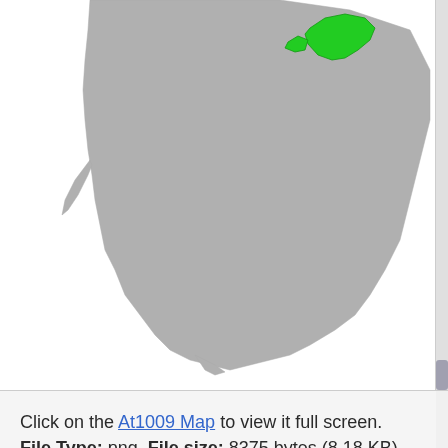[Figure (map): A map showing a gray landmass (southern Africa region) with a small green highlighted area in the upper-right portion of the landmass. The map has a white background.]
Click on the At1009 Map to view it full screen. File Type: png, File size: 8375 bytes (8.18 KB), Map Dimensions: 1166px x 790px (256 colors)